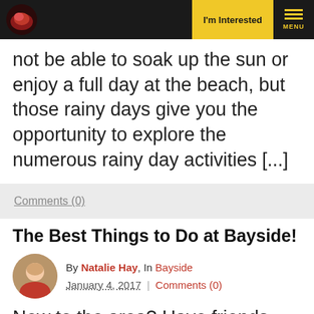I'm Interested | MENU
not be able to soak up the sun or enjoy a full day at the beach, but those rainy days give you the opportunity to explore the numerous rainy day activities [...]
Comments (0)
The Best Things to Do at Bayside!
By Natalie Hay, In Bayside January 4, 2017 | Comments (0)
New to the area? Have friends visiting